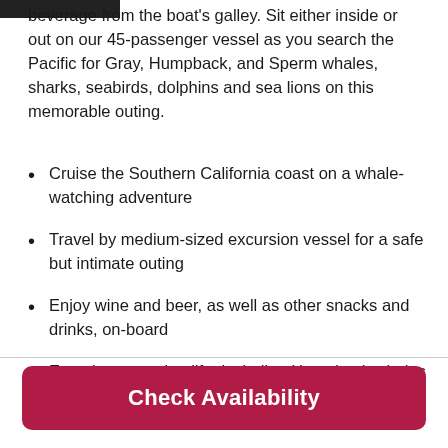beverage from the boat's galley. Sit either inside or out on our 45-passenger vessel as you search the Pacific for Gray, Humpback, and Sperm whales, sharks, seabirds, dolphins and sea lions on this memorable outing.
Cruise the Southern California coast on a whale-watching adventure
Travel by medium-sized excursion vessel for a safe but intimate outing
Enjoy wine and beer, as well as other snacks and drinks, on-board
Experience marine life, including Humpback whales and sharks, in the wild
Check Availability